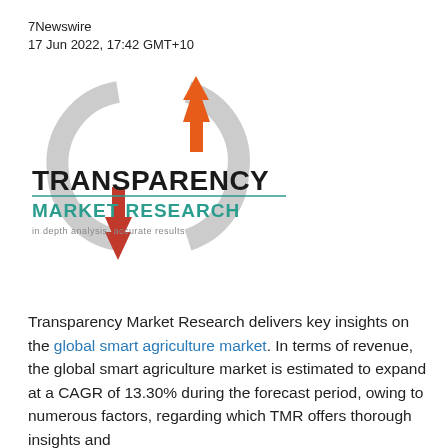7Newswire
17 Jun 2022, 17:42 GMT+10
[Figure (logo): Transparency Market Research logo with circular grey arrows and orange up-arrow and down-arrow, with text TRANSPARENCY MARKET RESEARCH in depth analysis, accurate results]
Transparency Market Research delivers key insights on the global smart agriculture market. In terms of revenue, the global smart agriculture market is estimated to expand at a CAGR of 13.30% during the forecast period, owing to numerous factors, regarding which TMR offers thorough insights and